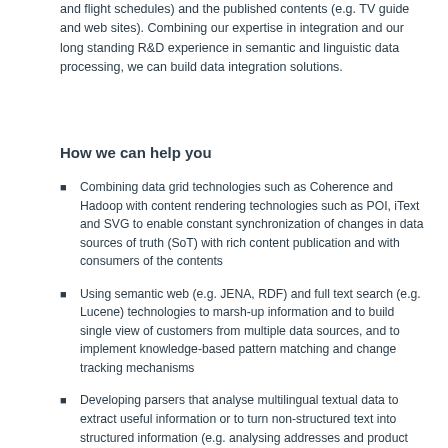and flight schedules) and the published contents (e.g. TV guide and web sites). Combining our expertise in integration and our long standing R&D experience in semantic and linguistic data processing, we can build data integration solutions.
How we can help you
Combining data grid technologies such as Coherence and Hadoop with content rendering technologies such as POI, iText and SVG to enable constant synchronization of changes in data sources of truth (SoT) with rich content publication and with consumers of the contents
Using semantic web (e.g. JENA, RDF) and full text search (e.g. Lucene) technologies to marsh-up information and to build single view of customers from multiple data sources, and to implement knowledge-based pattern matching and change tracking mechanisms
Developing parsers that analyse multilingual textual data to extract useful information or to turn non-structured text into structured information (e.g. analysing addresses and product descriptions)